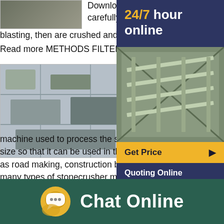[Figure (photo): Stone crusher machinery top image]
Download fullsize image; Download as PowerPoint slide by carefully controlled blasting, then are crushed and graded to produce. Read more METHODS FILTERS STONEDtd 9...
[Figure (photo): Stone crusher plant mid image]
Ppt On Stone Crusher Ma... notarlibereccz
machine guru: type of stone cr... machines,the stonecrusher ma... machine used to process the stone from large s... size so that it can be used in the construction pr... as road making, construction building and other... many types of stonecrusher machines grouped... primary crusher and secondary crusherstone jaw crusher,total cost to establish stone
[Figure (photo): Sidebar 24/7 hour online panel with crusher photo]
[Figure (photo): Small Pe 250*400 Homemade Lab bottom image]
Small Pe 250*400 Homemade Lab
[Figure (infographic): Chat Online bar at bottom with chat bubble icon]